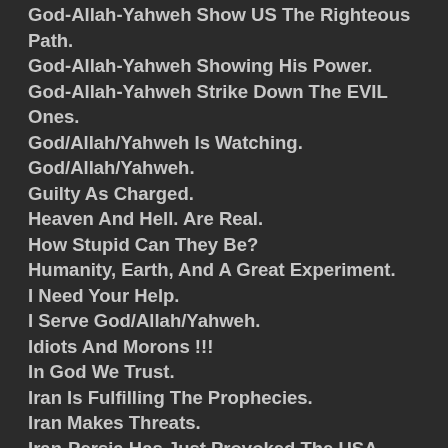God-Allah-Yahweh Show US The Righteous Path.
God-Allah-Yahweh Showing His Power.
God-Allah-Yahweh Strike Down The EVIL Ones.
God/Allah/Yahweh Is Watching.
God/Allah/Yahweh.
Guilty As Charged.
Heaven And Hell. Are Real.
How Stupid Can They Be?
Humanity, Earth, And A Great Experiment.
I Need Your Help.
I Serve God/Allah/Yahweh.
Idiots And Morons !!!
In God We Trust.
Iran Is Fulfilling The Prophecies.
Iran Makes Threats.
Iran-Persia Has Just Provoked The USA.
Is This The Cure?
ISIS Caliphate Leader Dead.
Judgement Day And The EndTimes.
Judgement Is Coming.
Judgement Is Now In Progress.
Judgement, Not Forgiveness.
Knowledge.